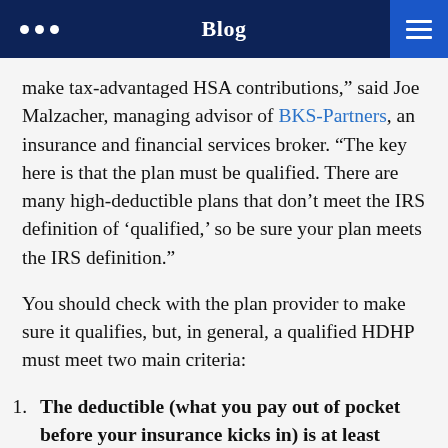Blog
make tax-advantaged HSA contributions,” said Joe Malzacher, managing advisor of BKS-Partners, an insurance and financial services broker. “The key here is that the plan must be qualified. There are many high-deductible plans that don’t meet the IRS definition of ‘qualified,’ so be sure your plan meets the IRS definition.”
You should check with the plan provider to make sure it qualifies, but, in general, a qualified HDHP must meet two main criteria:
The deductible (what you pay out of pocket before your insurance kicks in) is at least $1,400 for an individual policy ($2,800 for a family policy; and certain family plans with